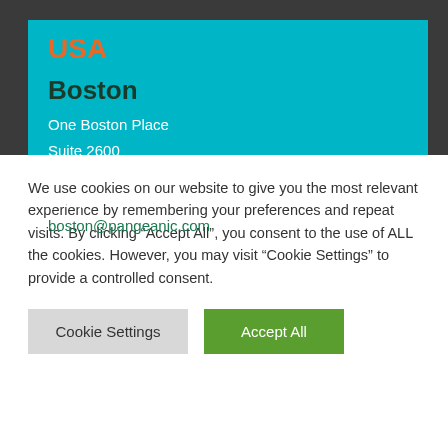USA
Boston
One Boston Place
Suite 2600
Boston MA 02108
(617) 621-4084
boston@pangeanic.com
We use cookies on our website to give you the most relevant experience by remembering your preferences and repeat visits. By clicking “Accept All”, you consent to the use of ALL the cookies. However, you may visit “Cookie Settings” to provide a controlled consent.